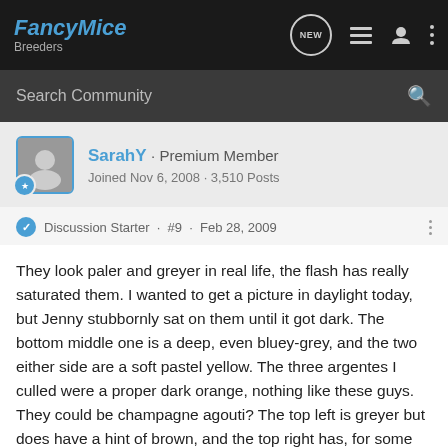FancyMice Breeders
Search Community
SarahY · Premium Member
Joined Nov 6, 2008 · 3,510 Posts
Discussion Starter · #9 · Feb 28, 2009
They look paler and greyer in real life, the flash has really saturated them. I wanted to get a picture in daylight today, but Jenny stubbornly sat on them until it got dark. The bottom middle one is a deep, even bluey-grey, and the two either side are a soft pastel yellow. The three argentes I culled were a proper dark orange, nothing like these guys. They could be champagne agouti? The top left is greyer but does have a hint of brown, and the top right has, for some reason, come out the right colour.